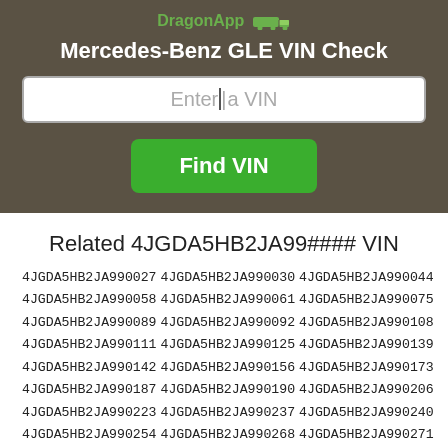DragonApp [truck icon]
Mercedes-Benz GLE VIN Check
Enter a VIN
Find VIN
Related 4JGDA5HB2JA99#### VIN
4JGDA5HB2JA990027
4JGDA5HB2JA990030
4JGDA5HB2JA990044
4JGDA5HB2JA990058
4JGDA5HB2JA990061
4JGDA5HB2JA990075
4JGDA5HB2JA990089
4JGDA5HB2JA990092
4JGDA5HB2JA990108
4JGDA5HB2JA990111
4JGDA5HB2JA990125
4JGDA5HB2JA990139
4JGDA5HB2JA990142
4JGDA5HB2JA990156
4JGDA5HB2JA990173
4JGDA5HB2JA990187
4JGDA5HB2JA990190
4JGDA5HB2JA990206
4JGDA5HB2JA990223
4JGDA5HB2JA990237
4JGDA5HB2JA990240
4JGDA5HB2JA990254
4JGDA5HB2JA990268
4JGDA5HB2JA990271
4JGDA5HB2JA990285
4JGDA5HB2JA990299
4JGDA5HB2JA990304